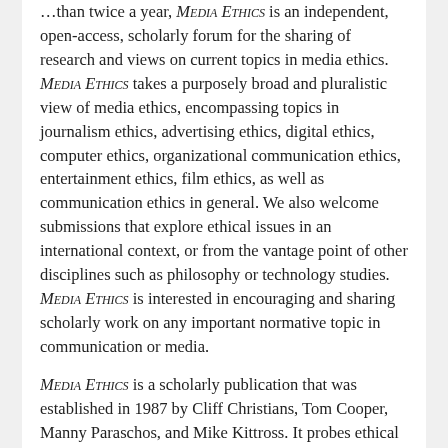…than twice a year, Media Ethics is an independent, open-access, scholarly forum for the sharing of research and views on current topics in media ethics. Media Ethics takes a purposely broad and pluralistic view of media ethics, encompassing topics in journalism ethics, advertising ethics, digital ethics, computer ethics, organizational communication ethics, entertainment ethics, film ethics, as well as communication ethics in general. We also welcome submissions that explore ethical issues in an international context, or from the vantage point of other disciplines such as philosophy or technology studies. Media Ethics is interested in encouraging and sharing scholarly work on any important normative topic in communication or media.
Media Ethics is a scholarly publication that was established in 1987 by Cliff Christians, Tom Cooper, Manny Paraschos, and Mike Kittross. It probes ethical issues in media, journalism, and communication ethics. It features creative and innovative pieces that showcase current scholarship or that analyze recent events, or shorter pieces that…